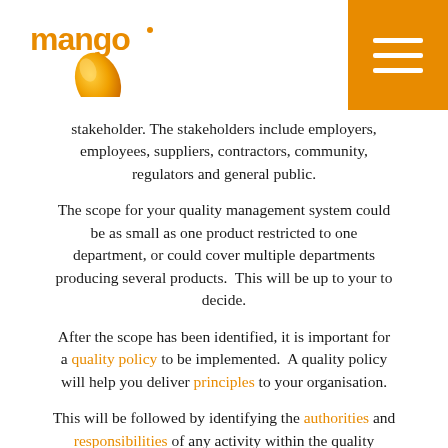mango [logo] with hamburger menu
stakeholder. The stakeholders include employers, employees, suppliers, contractors, community, regulators and general public.
The scope for your quality management system could be as small as one product restricted to one department, or could cover multiple departments producing several products.  This will be up to your to decide.
After the scope has been identified, it is important for a quality policy to be implemented.  A quality policy will help you deliver principles to your organisation.
This will be followed by identifying the authorities and responsibilities of any activity within the quality